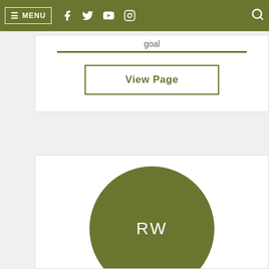MENU (navigation bar with social icons and search)
goal
View Page
[Figure (illustration): Circular olive-green avatar with white initials RW centered inside]
Roll with Roxy